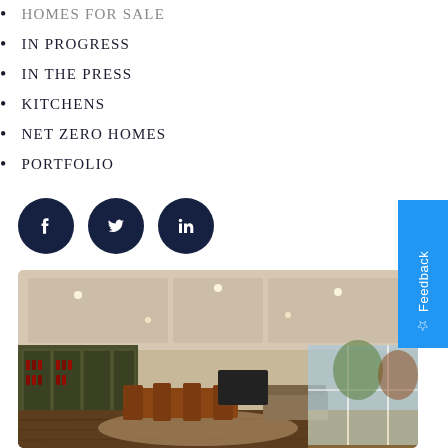HOMES FOR SALE
IN PROGRESS
IN THE PRESS
KITCHENS
NET ZERO HOMES
PORTFOLIO
[Figure (other): Social media icons: Facebook, Twitter, LinkedIn — dark navy circles]
[Figure (photo): Interior photo of a luxury home dining and living area with coffered ceilings, wine cellar behind glass, wood dining table and chairs, large windows overlooking trees, hardwood floors]